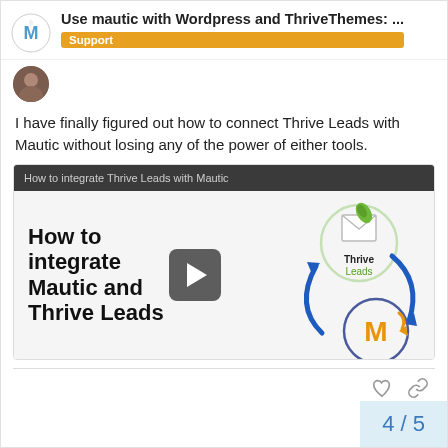Use mautic with Wordpress and ThriveThemes: ...
I have finally figured out how to connect Thrive Leads with Mautic without losing any of the power of either tools.
[Figure (screenshot): Video thumbnail showing 'How to integrate Mautic and Thrive Leads' with integration graphic showing Thrive Leads and Mautic logos connected by arrows, and a play button overlay.]
4 / 5